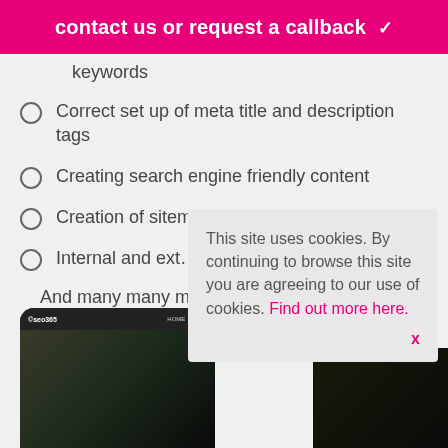contact us or request a callback ❯
keywords
Correct set up of meta title and description tags
Creating search engine friendly content
Creation of sitemaps
Internal and ext…
And many many m…
[Figure (screenshot): Screenshot of a mobile phone showing seo365 website homepage with navigation bar and dark content area]
This site uses cookies. By continuing to browse this site you are agreeing to our use of cookies. Find out more here.